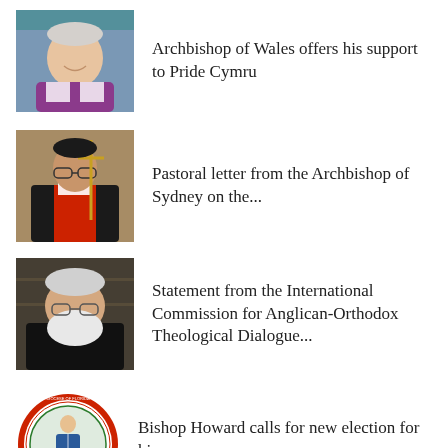[Figure (photo): Portrait photo of Archbishop of Wales, a smiling man in purple bishop vestments]
Archbishop of Wales offers his support to Pride Cymru
[Figure (photo): Photo of Archbishop of Sydney holding a ceremonial cross, wearing bishop vestments]
Pastoral letter from the Archbishop of Sydney on the...
[Figure (photo): Photo of an older man with white beard in dark clothing, sitting in front of bookshelves]
Statement from the International Commission for Anglican-Orthodox Theological Dialogue...
[Figure (logo): Circular seal/logo with red border, saint figure in the center, Diocese of Florida style emblem]
Bishop Howard calls for new election for his successor...